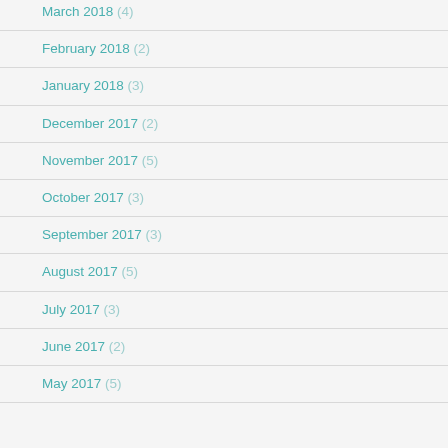March 2018 (4)
February 2018 (2)
January 2018 (3)
December 2017 (2)
November 2017 (5)
October 2017 (3)
September 2017 (3)
August 2017 (5)
July 2017 (3)
June 2017 (2)
May 2017 (5)